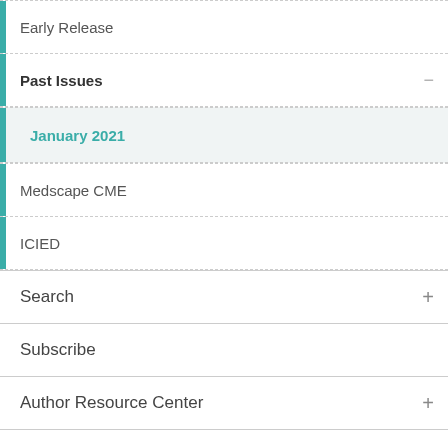Early Release
Past Issues
January 2021
Medscape CME
ICIED
Search
Subscribe
Author Resource Center
Peer Reviewers